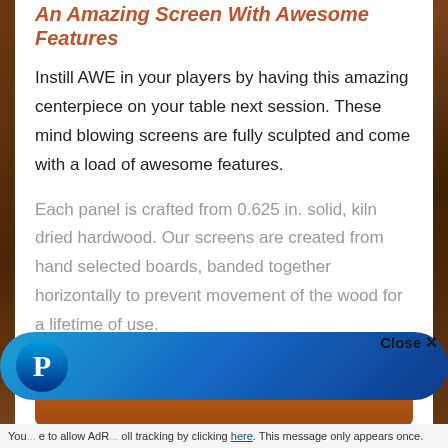An Amazing Screen With Awesome Features
Instill AWE in your players by having this amazing centerpiece on your table next session. These mind blowing screens are fully sculpted and come with a load of awesome features.
Each panel is crafted from 0.625 in. solid, kiln dried hardwood. Our screens are created from hand selected boards, banded together horizontally to prevent movement of the wood for a lifetime of use.
Order a Custom One
[Figure (other): PayPal branded blue gradient pill/banner bar with PayPal logo circle on the left]
Close ✕
You... e to allow AdR... oll tracking by clicking here. This message only appears once.